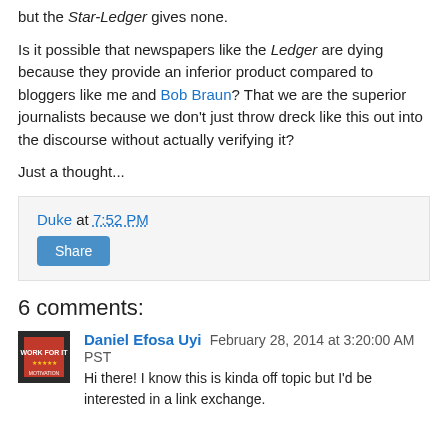but the Star-Ledger gives none.
Is it possible that newspapers like the Ledger are dying because they provide an inferior product compared to bloggers like me and Bob Braun? That we are the superior journalists because we don't just throw dreck like this out into the discourse without actually verifying it?
Just a thought...
Duke at 7:52 PM
Share
6 comments:
Daniel Efosa Uyi  February 28, 2014 at 3:20:00 AM PST
Hi there! I know this is kinda off topic but I'd be interested in a link exchange.